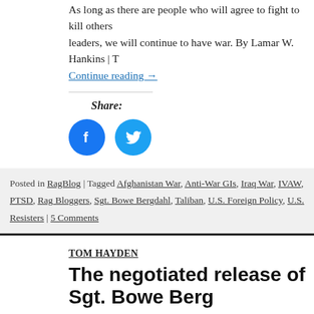As long as there are people who will agree to fight to kill others for their leaders, we will continue to have war. By Lamar W. Hankins | T
Continue reading →
Share:
[Figure (other): Facebook share button (blue circle with white F icon) and Twitter share button (light blue circle with white bird icon)]
Posted in RagBlog | Tagged Afghanistan War, Anti-War GIs, Iraq War, IVAW, PTSD, Rag Bloggers, Sgt. Bowe Bergdahl, Taliban, U.S. Foreign Policy, U.S. Resisters | 5 Comments
TOM HAYDEN
The negotiated release of Sgt. Bowe Berg
Public opinion supports Bergdahl but Republicans and neocons war statements and rumors that he went AWOL. By Tom Hayde After the negotiated release of Sgt. Bowe Bergdahl, I... Contin